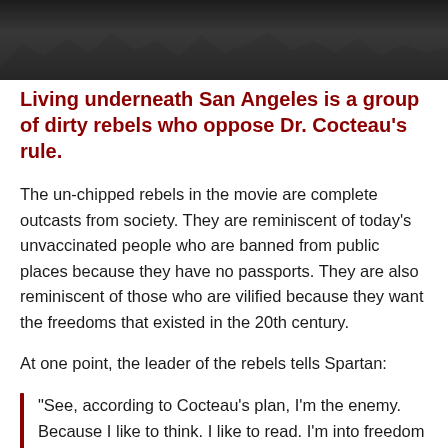[Figure (photo): Dark image showing a group of people/crowd, appears to be a still from a movie scene with figures in shadow]
Living underneath San Angeles is a group of dirty rebels who oppose Dr. Cocteau's rule.
The un-chipped rebels in the movie are complete outcasts from society. They are reminiscent of today's unvaccinated people who are banned from public places because they have no passports. They are also reminiscent of those who are vilified because they want the freedoms that existed in the 20th century.
At one point, the leader of the rebels tells Spartan:
“See, according to Cocteau’s plan, I’m the enemy. Because I like to think. I like to read. I’m into freedom of speech and freedom of choice”.